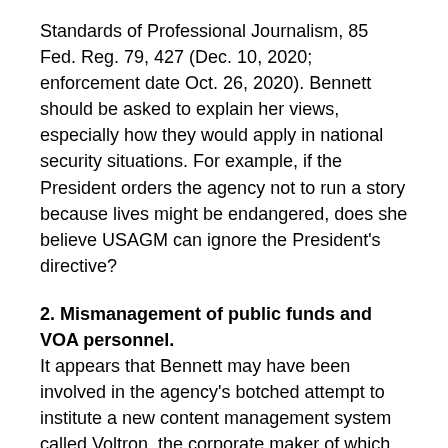Standards of Professional Journalism, 85 Fed. Reg. 79, 427 (Dec. 10, 2020; enforcement date Oct. 26, 2020). Bennett should be asked to explain her views, especially how they would apply in national security situations. For example, if the President orders the agency not to run a story because lives might be endangered, does she believe USAGM can ignore the President's directive?
2. Mismanagement of public funds and VOA personnel.
It appears that Bennett may have been involved in the agency's botched attempt to institute a new content management system called Voltron, the corporate maker of which her husband Don Graham allegedly was then linked to. Because of a variety of problems that happened during the attempted rollout, Voltron was ultimately abandoned, resulting in a waste of millions of dollars in taxpayer funds. Bennett should